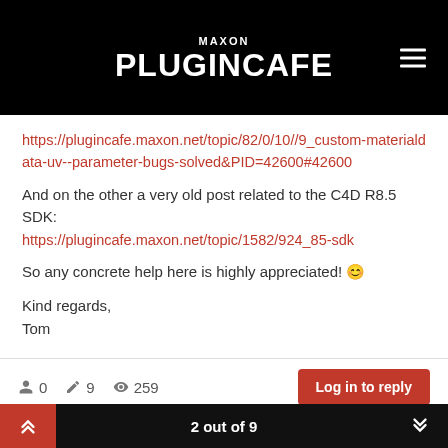MAXON PLUGINCAFE
https://plugincafe.maxon.net/topic/82/0/10//9_custom-materialdata-uv--parameter-bugs-solved&PID=42600#42600
And on the other a very old post related to the C4D R8.5 SDK:
https://plugincafe.maxon.net/topic/1582/924_85-sdk
So any concrete help here is highly appreciated! 😊
Kind regards,
Tom
0  9  259  Log in to reply  2 out of 9